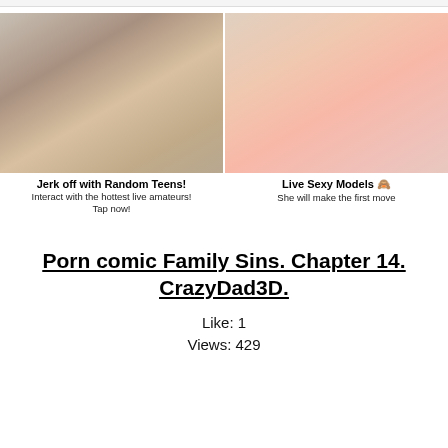[Figure (photo): Advertisement image on the left showing a young woman in a bra]
Jerk off with Random Teens!
Interact with the hottest live amateurs!
Tap now!
[Figure (photo): Advertisement image on the right showing explicit adult content]
Live Sexy Models 🙈
She will make the first move
Porn comic Family Sins. Chapter 14. CrazyDad3D.
Like: 1
Views: 429